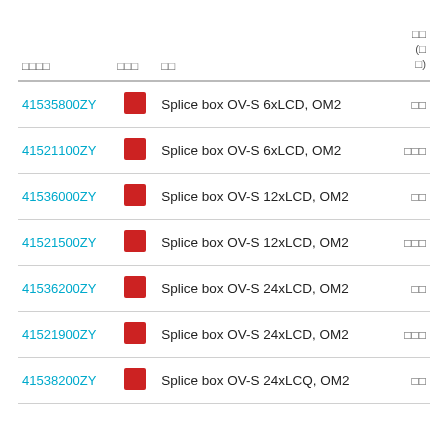| □□□□ | □□□ | □□ | □□ (□ □) |
| --- | --- | --- | --- |
| 41535800ZY | ■ | Splice box OV-S 6xLCD, OM2 | □□ |
| 41521100ZY | ■ | Splice box OV-S 6xLCD, OM2 | □□□ |
| 41536000ZY | ■ | Splice box OV-S 12xLCD, OM2 | □□ |
| 41521500ZY | ■ | Splice box OV-S 12xLCD, OM2 | □□□ |
| 41536200ZY | ■ | Splice box OV-S 24xLCD, OM2 | □□ |
| 41521900ZY | ■ | Splice box OV-S 24xLCD, OM2 | □□□ |
| 41538200ZY | ■ | Splice box OV-S 24xLCQ, OM2 | □□ |